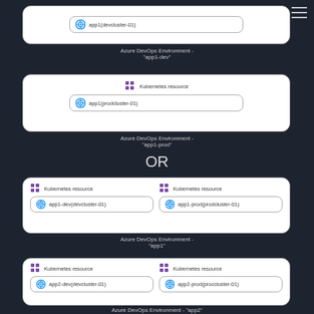[Figure (engineering-diagram): Azure DevOps Environment diagram showing Kubernetes resources. Top section: partial env box with app1(devcluster-01). Second box: Kubernetes resource with app1(prodcluster-01), labeled Azure DevOps Environment - 'app1-prod'. OR separator. Third box: two side-by-side Kubernetes resources: app1-dev(devcluster-01) and app1-prod(prodcluster-01), labeled Azure DevOps Environment - 'app1'. Fourth box: two side-by-side Kubernetes resources: app2-dev(devcluster-01) and app2-prod(proccluster-01), labeled Azure DevOps Environment - 'app2'.]